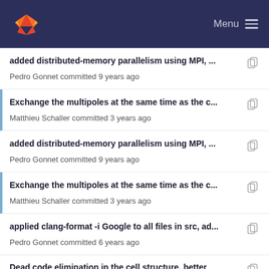Menu
added distributed-memory parallelism using MPI, ...
Pedro Gonnet committed 9 years ago
Exchange the multipoles at the same time as the c...
Matthieu Schaller committed 3 years ago
added distributed-memory parallelism using MPI, ...
Pedro Gonnet committed 9 years ago
Exchange the multipoles at the same time as the c...
Matthieu Schaller committed 3 years ago
applied clang-format -i Google to all files in src, ad...
Pedro Gonnet committed 6 years ago
Dead code elimination in the cell structure, better